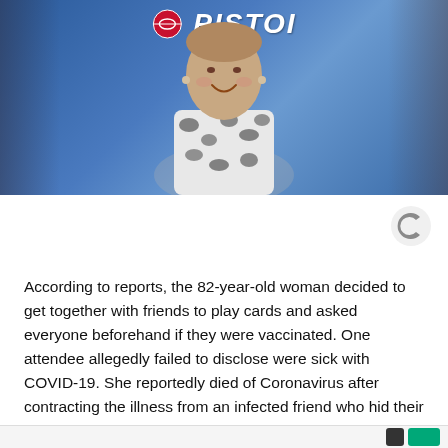[Figure (photo): Photo of an elderly smiling woman wearing a black and white floral top, standing in front of a Detroit Pistons banner/backdrop in blue with the Pistons logo visible.]
According to reports, the 82-year-old woman decided to get together with friends to play cards and asked everyone beforehand if they were vaccinated. One attendee allegedly failed to disclose were sick with COVID-19. She reportedly died of Coronavirus after contracting the illness from an infected friend who hid their diagnosis.